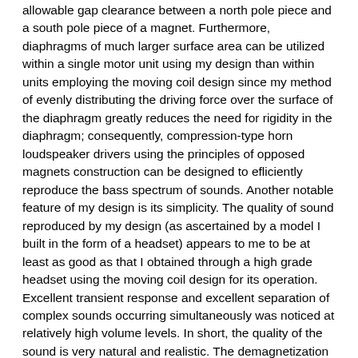allowable gap clearance between a north pole piece and a south pole piece of a magnet. Furthermore, diaphragms of much larger surface area can be utilized within a single motor unit using my design than within units employing the moving coil design since my method of evenly distributing the driving force over the surface of the diaphragm greatly reduces the need for rigidity in the diaphragm; consequently, compression-type horn loudspeaker drivers using the principles of opposed magnets construction can be designed to efliciently reproduce the bass spectrum of sounds. Another notable feature of my design is its simplicity. The quality of sound reproduced by my design (as ascertained by a model I built in the form of a headset) appears to me to be at least as good as that I obtained through a high grade headset using the moving coil design for its operation. Excellent transient response and excellent separation of complex sounds occurring simultaneously was noticed at relatively high volume levels. In short, the quality of the sound is very natural and realistic. The demagnetization of the permanent magnets in my design by currents flowing through the signal-conveyning coil appears to follow a law' of electrical theory which states that if a permanent magnet of the alnico type